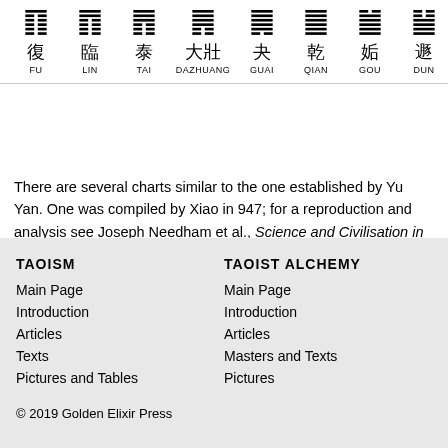[Figure (other): Row of I Ching hexagram symbols with Chinese characters and pinyin romanization below each: FU (復), LIN (臨), TAI (泰), DAZHUANG (大壯), GUAI (夬), QIAN (乾), GOU (姤), DUN (遯), PI (否, partially visible)]
There are several charts similar to the one established by Yu Yan. One was compiled by Xiao in 947; for a reproduction and analysis see Joseph Needham et al., Science and Civilisation in China, vol. V:5 (Cambridge, 1983), pp. 55-58.
TAOISM
TAOIST ALCHEMY
Main Page
Introduction
Articles
Texts
Pictures and Tables
Main Page
Introduction
Articles
Masters and Texts
Pictures
© 2019 Golden Elixir Press